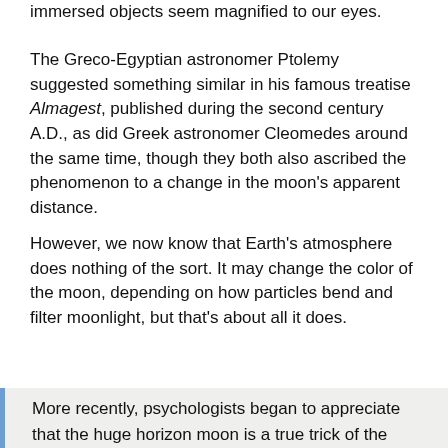immersed objects seem magnified to our eyes.
The Greco-Egyptian astronomer Ptolemy suggested something similar in his famous treatise Almagest, published during the second century A.D., as did Greek astronomer Cleomedes around the same time, though they both also ascribed the phenomenon to a change in the moon’s apparent distance.
However, we now know that Earth’s atmosphere does nothing of the sort. It may change the color of the moon, depending on how particles bend and filter moonlight, but that’s about all it does.
More recently, psychologists began to appreciate that the huge horizon moon is a true trick of the imagination—and it’s relatively easy to see for yourself that things are not as they seem.